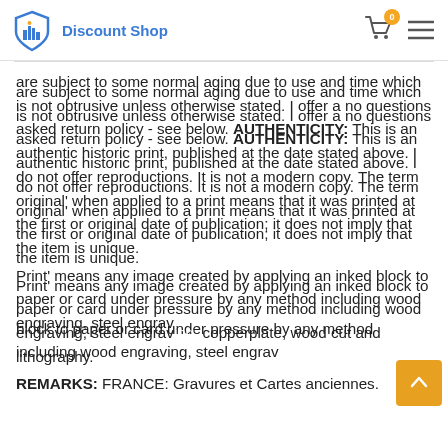Discount Shop
are subject to some normal aging due to use and time which is not obtrusive unless otherwise stated. I offer a no questions asked return policy - see below. AUTHENTICITY:  This is an authentic historic print, published at the date stated above. I do not offer reproductions. It is not a modern copy. The term original' when applied to a print means that it was printed at the first or original date of publication; it does not imply that the item is unique.
Print' means any image created by applying an inked block to paper or card under pressure by any method including wood engraving, steel engraving, copperplate, wood cut and lithography.
REMARKS: FRANCE: Gravures et Cartes anciennes.